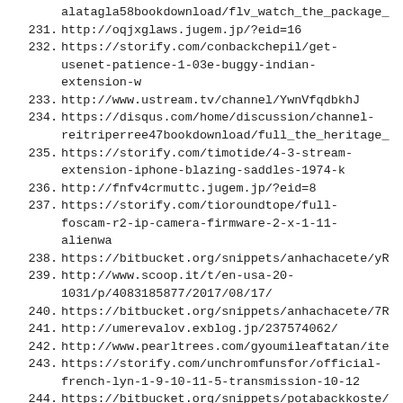alatagla58bookdownload/flv_watch_the_package_
231. http://oqjxglaws.jugem.jp/?eid=16
232. https://storify.com/conbackchepil/get-usenet-patience-1-03e-buggy-indian-extension-w
233. http://www.ustream.tv/channel/YwnVfqdbkhJ
234. https://disqus.com/home/discussion/channel-reitriperree47bookdownload/full_the_heritage_
235. https://storify.com/timotide/4-3-stream-extension-iphone-blazing-saddles-1974-k
236. http://fnfv4crmuttc.jugem.jp/?eid=8
237. https://storify.com/tioroundtope/full-foscam-r2-ip-camera-firmware-2-x-1-11-alienwa
238. https://bitbucket.org/snippets/anhachacete/yR
239. http://www.scoop.it/t/en-usa-20-1031/p/4083185877/2017/08/17/
240. https://bitbucket.org/snippets/anhachacete/7R
241. http://umerevalov.exblog.jp/237574062/
242. http://www.pearltrees.com/gyoumileaftatan/ite
243. https://storify.com/unchromfunsfor/official-french-lyn-1-9-10-11-5-transmission-10-12
244. https://bitbucket.org/snippets/potabackkoste/
245. https://ualsaragoro.deviantart.com/
246. http://ameblo.jp/rudandvilrara/entry-12302204320.html
247. http://www.texpaste.com/n/8qj8zh7h
248. https://storify.com/daulasttorlu/0-2-work